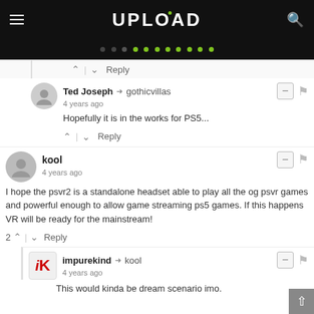UPLOAD
Ted Joseph → gothicvillas
4 years ago
Hopefully it is in the works for PS5...
kool
4 years ago
I hope the psvr2 is a standalone headset able to play all the og psvr games and powerful enough to allow game streaming ps5 games. If this happens VR will be ready for the mainstream!
impurekind → kool
4 years ago
This would kinda be dream scenario imo.